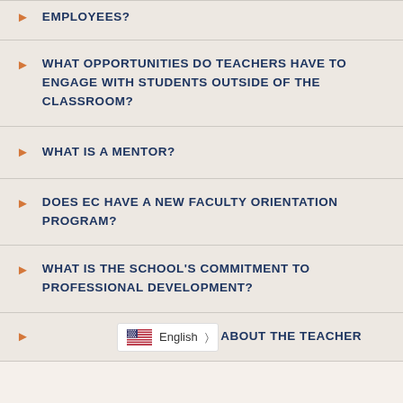EMPLOYEES?
WHAT OPPORTUNITIES DO TEACHERS HAVE TO ENGAGE WITH STUDENTS OUTSIDE OF THE CLASSROOM?
WHAT IS A MENTOR?
DOES EC HAVE A NEW FACULTY ORIENTATION PROGRAM?
WHAT IS THE SCHOOL'S COMMITMENT TO PROFESSIONAL DEVELOPMENT?
E ABOUT THE TEACHER